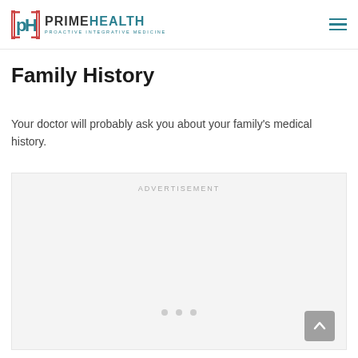PRIMEHEALTH PROACTIVE INTEGRATIVE MEDICINE
Family History
Your doctor will probably ask you about your family's medical history.
[Figure (other): Advertisement placeholder box with three dot indicators at the bottom and a scroll-to-top button in the lower right corner.]